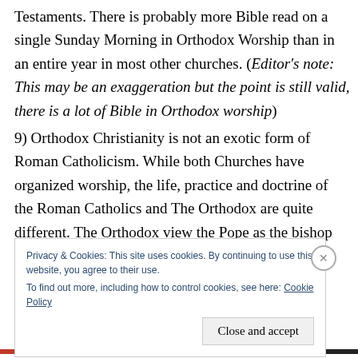Testaments. There is probably more Bible read on a single Sunday Morning in Orthodox Worship than in an entire year in most other churches. (Editor's note: This may be an exaggeration but the point is still valid, there is a lot of Bible in Orthodox worship)
9) Orthodox Christianity is not an exotic form of Roman Catholicism. While both Churches have organized worship, the life, practice and doctrine of the Roman Catholics and The Orthodox are quite different. The Orthodox view the Pope as the bishop of Rome, not a supreme leader of the entire
Privacy & Cookies: This site uses cookies. By continuing to use this website, you agree to their use.
To find out more, including how to control cookies, see here: Cookie Policy